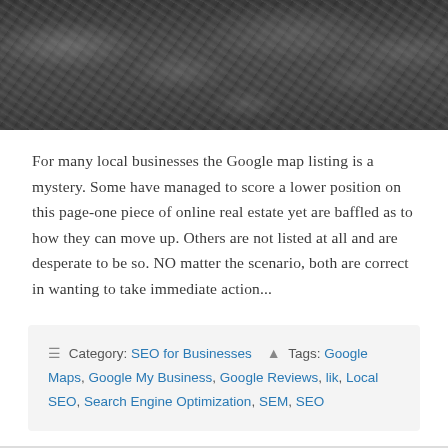[Figure (photo): Black and white aerial photograph of a city/town showing buildings and trees from above]
For many local businesses the Google map listing is a mystery. Some have managed to score a lower position on this page-one piece of online real estate yet are baffled as to how they can move up. Others are not listed at all and are desperate to be so. NO matter the scenario, both are correct in wanting to take immediate action...
Category: SEO for Businesses   Tags: Google Maps, Google My Business, Google Reviews, lik, Local SEO, Search Engine Optimization, SEM, SEO